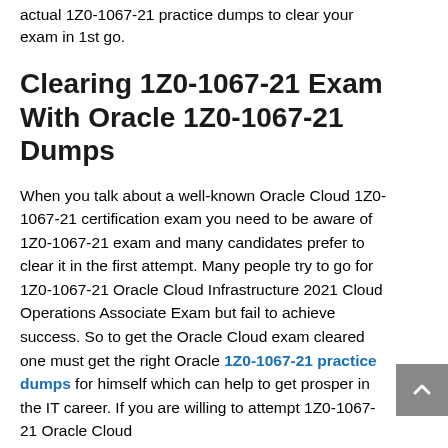actual 1Z0-1067-21 practice dumps to clear your exam in 1st go.
Clearing 1Z0-1067-21 Exam With Oracle 1Z0-1067-21 Dumps
When you talk about a well-known Oracle Cloud 1Z0-1067-21 certification exam you need to be aware of 1Z0-1067-21 exam and many candidates prefer to clear it in the first attempt. Many people try to go for 1Z0-1067-21 Oracle Cloud Infrastructure 2021 Cloud Operations Associate Exam but fail to achieve success. So to get the Oracle Cloud exam cleared one must get the right Oracle 1Z0-1067-21 practice dumps for himself which can help to get prosper in the IT career. If you are willing to attempt 1Z0-1067-21 Oracle Cloud